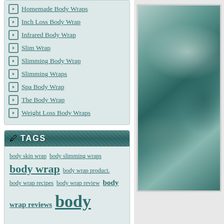Homemade Body Wraps
Inch Loss Body Wrap
Infrared Body Wrap
Slim Wrap
Slimming Body Wrap
Slimming Wraps
Spa Body Wrap
The Body Wrap
Weight Loss Body Wraps
TAGS
body skin wrap body slimming wraps body wrap body wrap product. body wrap recipes body wrap review body wrap reviews body wraps body wraps for weight loss body wrap treatments clay wraps contour body wraps contour body
[Figure (photo): Close-up photograph of teal/green body wrap fabric or seaweed wrap material, with light reflections creating varied tones of teal, sage green and white.]